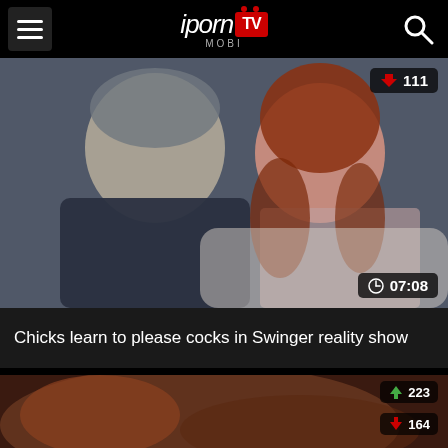iporn TV MOBI
[Figure (screenshot): Video thumbnail showing a man and woman seated, with dislike count 111 and duration 07:08 overlaid]
Chicks learn to please cocks in Swinger reality show
[Figure (screenshot): Partially visible video thumbnail showing close-up with like count 223 and dislike count 164]